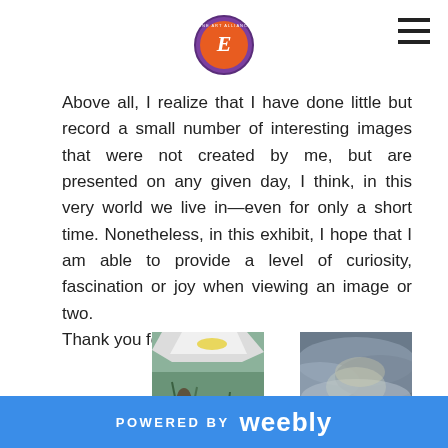[Logo: Fine Art Alliance] [hamburger menu icon]
Above all, I realize that I have done little but record a small number of interesting images that were not created by me, but are presented on any given day, I think, in this very world we live in—even for only a short time. Nonetheless, in this exhibit, I hope that I am able to provide a level of curiosity, fascination or joy when viewing an image or two.
Thank you for looking."
[Figure (photo): A boat hull viewed from above over clear shallow water showing rocks and aquatic vegetation on the lakebed below]
[Figure (photo): Dramatic cloudy sky with moody grey and white clouds]
POWERED BY weebly